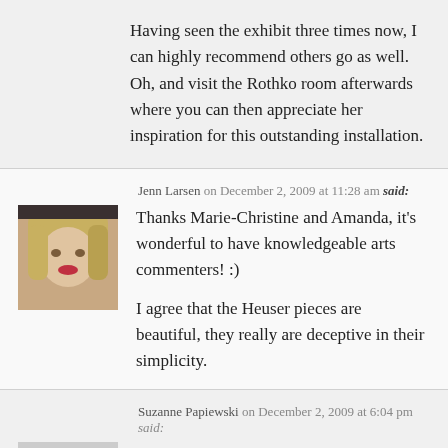Having seen the exhibit three times now, I can highly recommend others go as well. Oh, and visit the Rothko room afterwards where you can then appreciate her inspiration for this outstanding installation.
Jenn Larsen on December 2, 2009 at 11:28 am said:
[Figure (photo): Profile photo of Jenn Larsen, a blonde woman]
Thanks Marie-Christine and Amanda, it's wonderful to have knowledgeable arts commenters! :)
I agree that the Heuser pieces are beautiful, they really are deceptive in their simplicity.
Suzanne Papiewski on December 2, 2009 at 6:04 pm said:
[Figure (photo): Default avatar placeholder, grey circle silhouette]